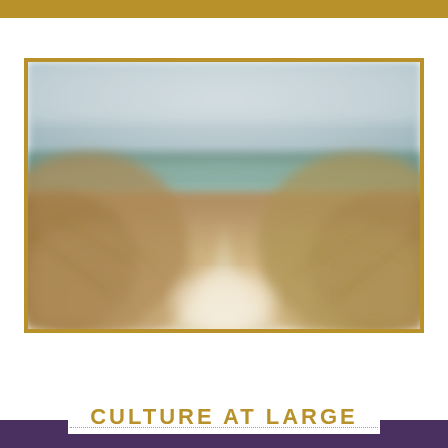[Figure (photo): Blurred/soft-focus photograph of a beach path through tall grass dunes leading to the ocean, with hazy sky above. Warm sandy tones in foreground, muted teal ocean in middle ground.]
CULTURE AT LARGE